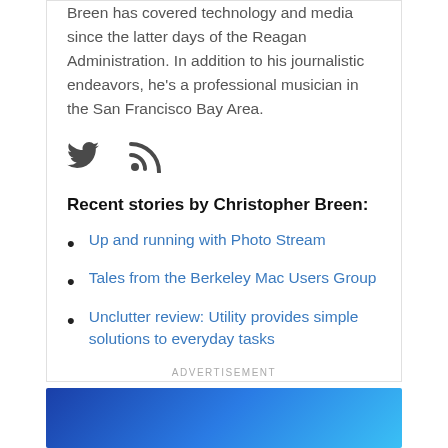Breen has covered technology and media since the latter days of the Reagan Administration. In addition to his journalistic endeavors, he's a professional musician in the San Francisco Bay Area.
[Figure (other): Twitter bird icon and RSS feed icon]
Recent stories by Christopher Breen:
Up and running with Photo Stream
Tales from the Berkeley Mac Users Group
Unclutter review: Utility provides simple solutions to everyday tasks
ADVERTISEMENT
[Figure (other): Blue gradient advertisement banner]